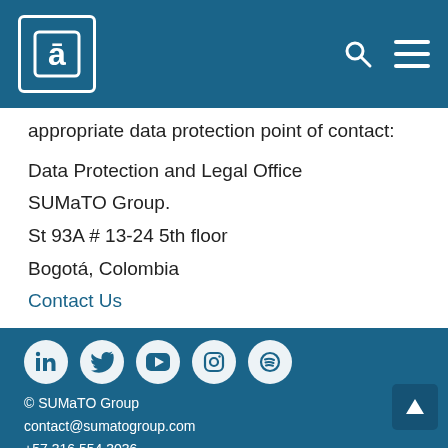SUMaTO Group logo and navigation header
appropriate data protection point of contact:
Data Protection and Legal Office
SUMaTO Group.
St 93A # 13-24 5th floor
Bogotá, Colombia
Contact Us
© SUMaTO Group
contact@sumatogroup.com
+57 316 554 3036